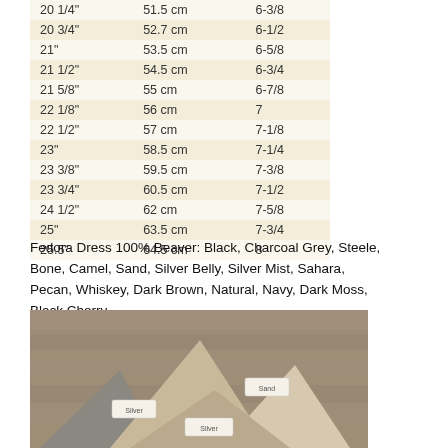| 20 1/4" | 51.5 cm | 6-3/8 |
| 20 3/4" | 52.7 cm | 6-1/2 |
| 21" | 53.5 cm | 6-5/8 |
| 21 1/2" | 54.5 cm | 6-3/4 |
| 21 5/8" | 55 cm | 6-7/8 |
| 22 1/8" | 56 cm | 7 |
| 22 1/2" | 57 cm | 7-1/8 |
| 23" | 58.5 cm | 7-1/4 |
| 23 3/8" | 59.5 cm | 7-3/8 |
| 23 3/4" | 60.5 cm | 7-1/2 |
| 24 1/2" | 62 cm | 7-5/8 |
| 25" | 63.5 cm | 7-3/4 |
| 25.5" | 64.5 cm | 8 |
Fedora Dress 100% Beaver: Black, Charcoal Grey, Steele, Bone, Camel, Sand, Silver Belly, Silver Mist, Sahara, Pecan, Whiskey, Dark Brown, Natural, Navy, Dark Moss, Black Cherry.
[Figure (photo): Photo of several wedge-shaped beaver felt hat blanks/swatches in neutral tan and grey tones, each labeled with handwritten paper tags, arranged on a wooden surface.]